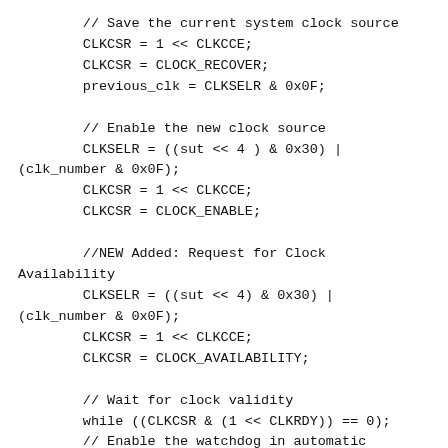// Save the current system clock source
        CLKCSR = 1 << CLKCCE;
        CLKCSR = CLOCK_RECOVER;
        previous_clk = CLKSELR & 0x0F;

        // Enable the new clock source
        CLKSELR = ((sut << 4 ) & 0x30) |
(clk_number & 0x0F);
        CLKCSR = 1 << CLKCCE;
        CLKCSR = CLOCK_ENABLE;

        //NEW Added: Request for Clock
Availability
        CLKSELR = ((sut << 4) & 0x30) |
(clk_number & 0x0F);
        CLKCSR = 1 << CLKCCE;
        CLKCSR = CLOCK_AVAILABILITY;

        // Wait for clock validity
        while ((CLKCSR & (1 << CLKRDY)) == 0);
        // Enable the watchdog in automatic